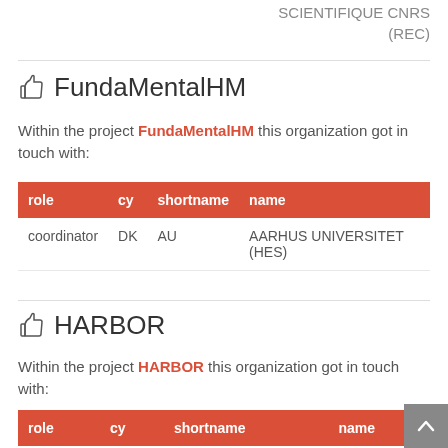SCIENTIFIQUE CNRS (REC)
FundaMentalHM
Within the project FundaMentalHM this organization got in touch with:
| role | cy | shortname | name |
| --- | --- | --- | --- |
| coordinator | DK | AU | AARHUS UNIVERSITET (HES) |
HARBOR
Within the project HARBOR this organization got in touch with:
| role | cy | shortname | name |
| --- | --- | --- | --- |